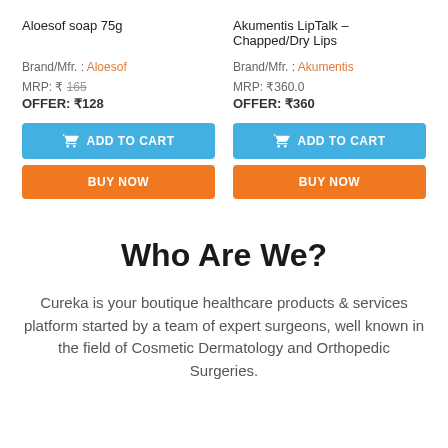Aloesof soap 75g
Akumentis LipTalk – Chapped/Dry Lips
Brand/Mfr. : Aloesof
Brand/Mfr. : Akumentis
MRP: ₹ 165
OFFER: ₹128
MRP: ₹360.0
OFFER: ₹360
ADD TO CART
ADD TO CART
BUY NOW
BUY NOW
Who Are We?
Cureka is your boutique healthcare products & services platform started by a team of expert surgeons, well known in the field of Cosmetic Dermatology and Orthopedic Surgeries.